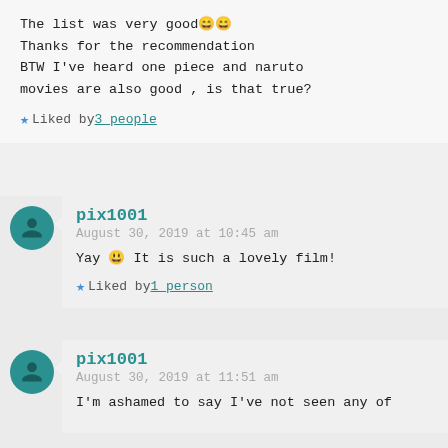The list was very good 😄😄
Thanks for the recommendation
BTW I've heard one piece and naruto
movies are also good , is that true?
★ Liked by 3 people
pix1001
August 30, 2019 at 10:45 am
Yay 😀 It is such a lovely film!
★ Liked by 1 person
pix1001
August 30, 2019 at 11:51 am
I'm ashamed to say I've not seen any of